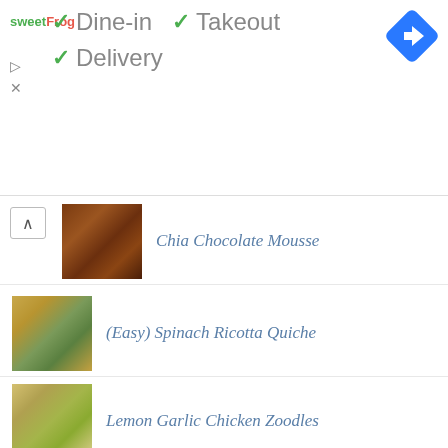[Figure (screenshot): Advertisement banner with sweetFrog logo and service options: Dine-in (checkmark), Takeout (checkmark), Delivery (checkmark), with a blue navigation arrow icon on the right]
✓ Dine-in  ✓ Takeout
✓ Delivery
Chia Chocolate Mousse
(Easy) Spinach Ricotta Quiche
Lemon Garlic Chicken Zoodles
Zucchini Pizza Boats